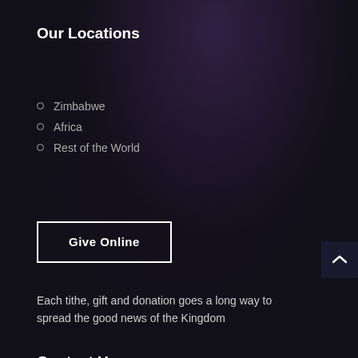Our Locations
Zimbabwe
Africa
Rest of the World
Give Online
Each tithe, gift and donation goes a long way to spread the good news of the Kingdom
Contact Us